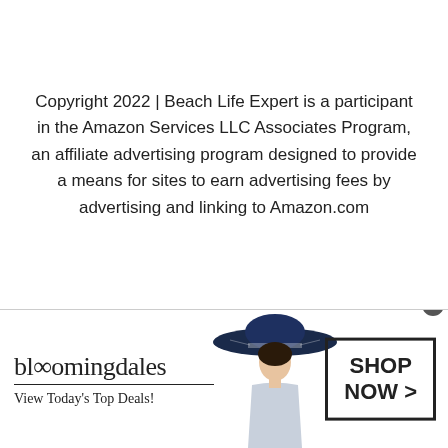Copyright 2022 | Beach Life Expert is a participant in the Amazon Services LLC Associates Program, an affiliate advertising program designed to provide a means for sites to earn advertising fees by advertising and linking to Amazon.com
[Figure (infographic): Bloomingdale's advertisement banner with logo, tagline 'View Today's Top Deals!', a woman wearing a large blue sun hat, and a 'SHOP NOW >' call-to-action button]